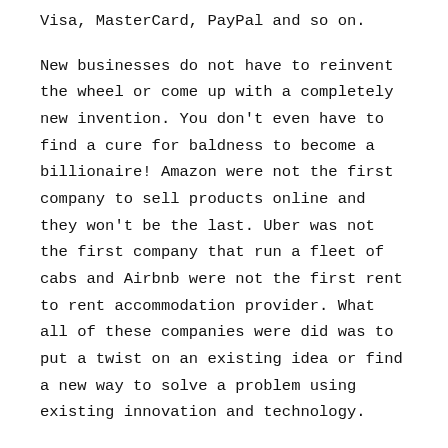Visa, MasterCard, PayPal and so on.
New businesses do not have to reinvent the wheel or come up with a completely new invention. You don't even have to find a cure for baldness to become a billionaire! Amazon were not the first company to sell products online and they won't be the last. Uber was not the first company that run a fleet of cabs and Airbnb were not the first rent to rent accommodation provider. What all of these companies were did was to put a twist on an existing idea or find a new way to solve a problem using existing innovation and technology.